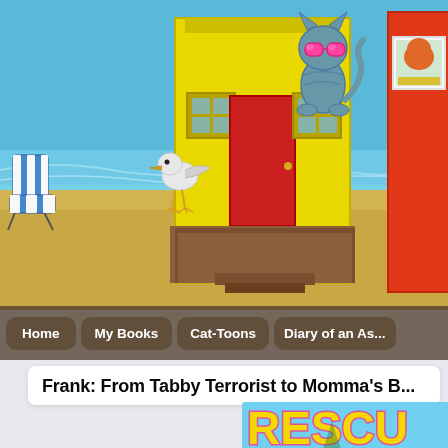[Figure (illustration): Colorful beach scene header with a yellow beach hut with red door, a cat wearing pink sunglasses standing on the porch, a seagull, a beach chair, blue ocean water, sandy beach, and a partial red hut on the right side.]
Home | My Books | Cat-Toons | Diary of an As...
Frank: From Tabby Terrorist to Momma's B...
[Figure (illustration): Book cover showing 'RESCU...' text in large yellow letters with pink outline on a light blue background, with a palm tree at the bottom.]